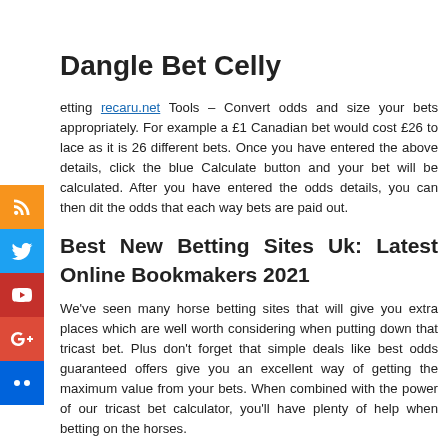Dangle Bet Celly
etting recaru.net Tools – Convert odds and size your bets appropriately. For example a £1 Canadian bet would cost £26 to lace as it is 26 different bets. Once you have entered the above details, click the blue Calculate button and your bet will be calculated. After you have entered the odds details, you can then dit the odds that each way bets are paid out.
Best New Betting Sites Uk: Latest Online Bookmakers 2021
We've seen many horse betting sites that will give you extra places which are well worth considering when putting down that tricast bet. Plus don't forget that simple deals like best odds guaranteed offers give you an excellent way of getting the maximum value from your bets. When combined with the power of our tricast bet calculator, you'll have plenty of help when betting on the horses.